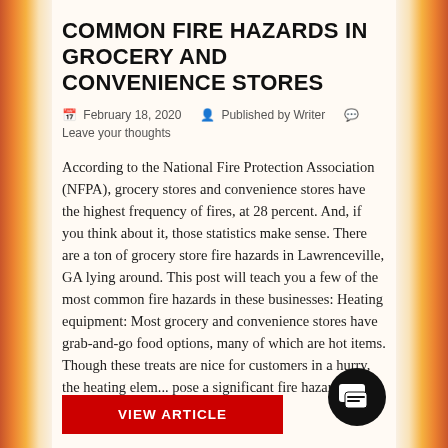COMMON FIRE HAZARDS IN GROCERY AND CONVENIENCE STORES
February 18, 2020   Published by Writer   Leave your thoughts
According to the National Fire Protection Association (NFPA), grocery stores and convenience stores have the highest frequency of fires, at 28 percent. And, if you think about it, those statistics make sense. There are a ton of grocery store fire hazards in Lawrenceville, GA lying around. This post will teach you a few of the most common fire hazards in these businesses: Heating equipment: Most grocery and convenience stores have grab-and-go food options, many of which are hot items. Though these treats are nice for customers in a hurry, the heating elem... pose a significant fire hazard. Be sure to…
VIEW ARTICLE